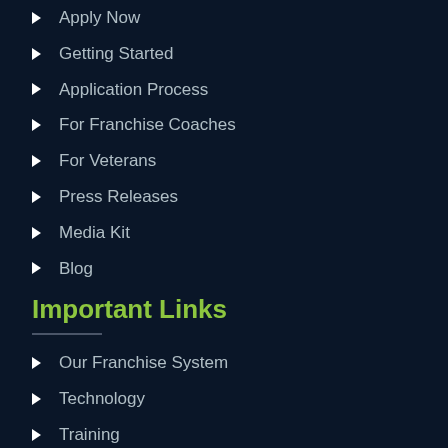Apply Now
Getting Started
Application Process
For Franchise Coaches
For Veterans
Press Releases
Media Kit
Blog
Important Links
Our Franchise System
Technology
Training
Support
Operations Help
Business Advantages